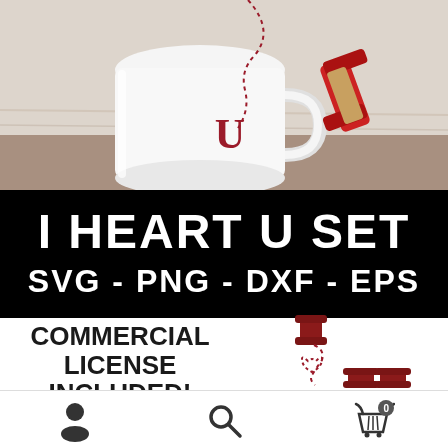[Figure (photo): Photo of a white ceramic mug on a wooden surface with a red letter U on it and a red ribbon spool in the background]
I HEART U SET
SVG - PNG - DXF - EPS
[Figure (illustration): Illustration of thread spools with a dashed heart connecting them (I heart U sewing design)]
COMMERCIAL LICENSE INCLUDED!
[Figure (other): Bottom navigation bar with user icon, search icon, and shopping cart icon with badge showing 0]